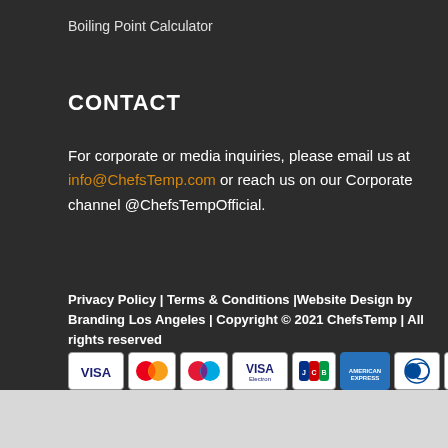Boiling Point Calculator
CONTACT
For corporate or media inquiries, please email us at info@ChefsTemp.com or reach us on our Corporate channel @ChefsTempOfficial.
Privacy Policy | Terms & Conditions |Website Design by Branding Los Angeles | Copyright © 2021 ChefsTemp | All rights reserved
[Figure (other): Payment method icons: VISA, Mastercard, another card, VISA Electron, JCB, American Express, Diners Club, Discover]